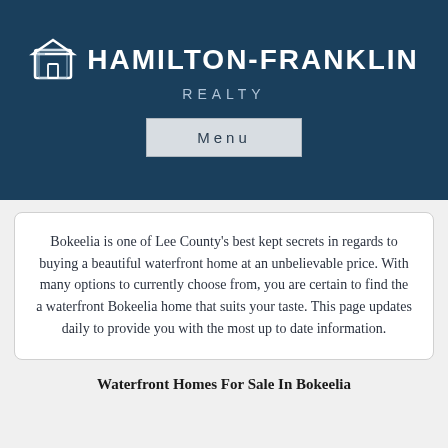[Figure (logo): Hamilton-Franklin Realty logo with house icon on dark blue background]
Menu
Bokeelia is one of Lee County's best kept secrets in regards to buying a beautiful waterfront home at an unbelievable price. With many options to currently choose from, you are certain to find the a waterfront Bokeelia home that suits your taste. This page updates daily to provide you with the most up to date information.
Waterfront Homes For Sale In Bokeelia